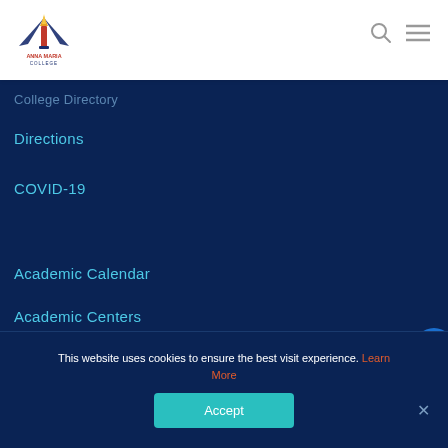[Figure (logo): Anna Maria College logo with torch and wing design]
College Directory
Directions
COVID-19
Academic Calendar
Academic Centers
Upcoming Events
Commencement
This website uses cookies to ensure the best visit experience. Learn More
Accept